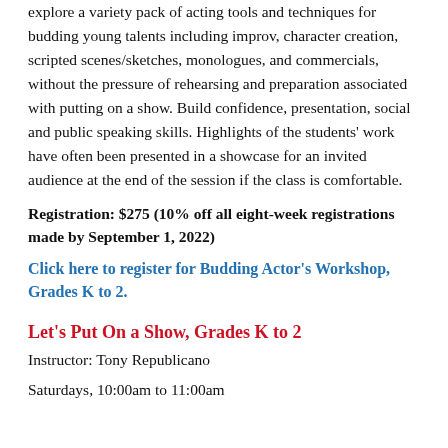explore a variety pack of acting tools and techniques for budding young talents including improv, character creation, scripted scenes/sketches, monologues, and commercials, without the pressure of rehearsing and preparation associated with putting on a show. Build confidence, presentation, social and public speaking skills. Highlights of the students' work have often been presented in a showcase for an invited audience at the end of the session if the class is comfortable.
Registration: $275 (10% off all eight-week registrations made by September 1, 2022)
Click here to register for Budding Actor's Workshop, Grades K to 2.
Let's Put On a Show, Grades K to 2
Instructor: Tony Republicano
Saturdays, 10:00am to 11:00am